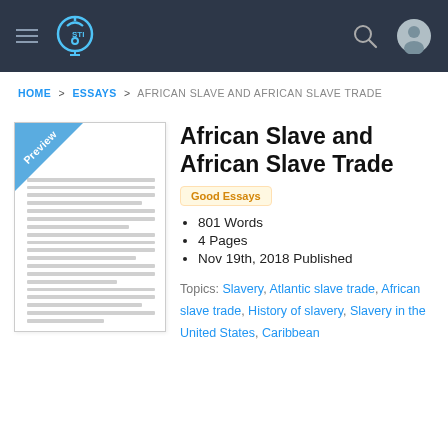Navigation bar with hamburger menu, STI logo, search icon, and user profile icon
HOME > ESSAYS > AFRICAN SLAVE AND AFRICAN SLAVE TRADE
African Slave and African Slave Trade
[Figure (illustration): Document preview thumbnail with 'Preview' badge in blue corner and gray lines representing text content]
Good Essays
801 Words
4 Pages
Nov 19th, 2018 Published
Topics: Slavery, Atlantic slave trade, African slave trade, History of slavery, Slavery in the United States, Caribbean